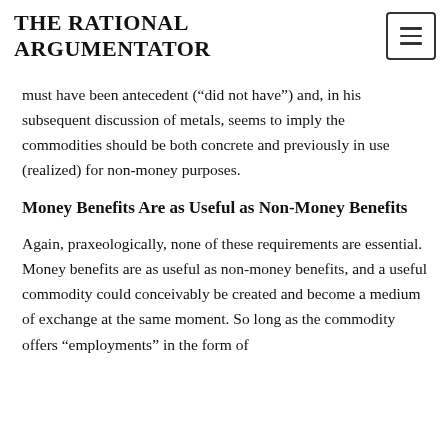THE RATIONAL ARGUMENTATOR
must have been antecedent (“did not have”) and, in his subsequent discussion of metals, seems to imply the commodities should be both concrete and previously in use (realized) for non-money purposes.
Money Benefits Are as Useful as Non-Money Benefits
Again, praxeologically, none of these requirements are essential. Money benefits are as useful as non-money benefits, and a useful commodity could conceivably be created and become a medium of exchange at the same moment. So long as the commodity offers “employments” in the form of